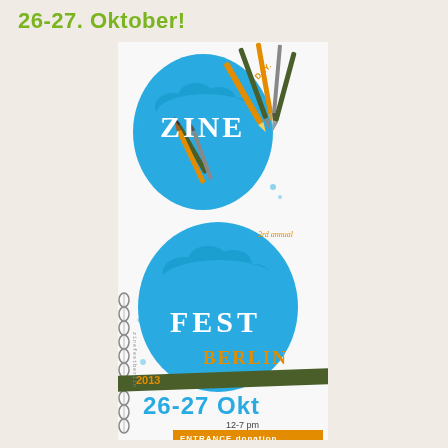26-27. Oktober!
[Figure (illustration): Zine Fest Berlin 2013 poster featuring two blue illustrated fists holding pencils and pens, with text 'ZINE FEST BERLIN 2013, 26-27 OKT, 12-7 PM, ENTRANCE donation, 3rd annual'. Spiral binding visible on left side.]